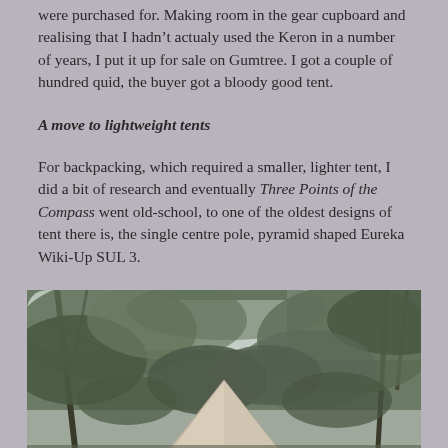were purchased for. Making room in the gear cupboard and realising that I hadn't actualy used the Keron in a number of years, I put it up for sale on Gumtree. I got a couple of hundred quid, the buyer got a bloody good tent.
A move to lightweight tents
For backpacking, which required a smaller, lighter tent, I did a bit of research and eventually Three Points of the Compass went old-school, to one of the oldest designs of tent there is, the single centre pole, pyramid shaped Eureka Wiki-Up SUL 3.
[Figure (photo): Photograph of a pyramid-shaped tent (Eureka Wiki-Up SUL 3) in a wooded outdoor setting, surrounded by trees and foliage. The tent is light-coloured with a single centre pole visible at the top.]